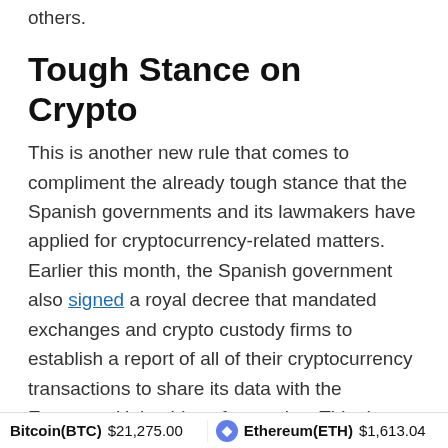others.
Tough Stance on Crypto
This is another new rule that comes to compliment the already tough stance that the Spanish governments and its lawmakers have applied for cryptocurrency-related matters. Earlier this month, the Spanish government also signed a royal decree that mandated exchanges and crypto custody firms to establish a report of all of their cryptocurrency transactions to share its data with the European Union bloc of countries. This decree also includes making reports of any “suspicious” transactions to the authorities.
What do you think about the law draft approved in Spain?
Bitcoin(BTC) $21,275.00   Ethereum(ETH) $1,613.04   XRP